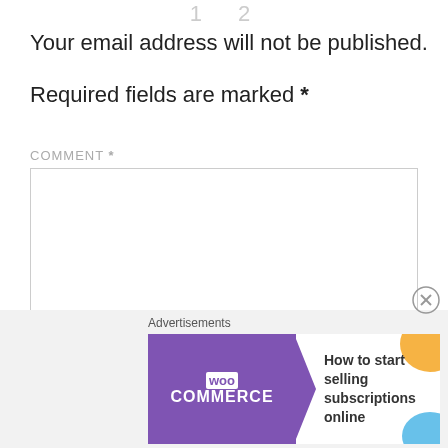[Figure (other): Pagination numbers partially visible at top]
Your email address will not be published.
Required fields are marked *
COMMENT *
[Figure (other): Comment textarea input box]
[Figure (other): Close (X) button circle for advertisement]
Advertisements
[Figure (other): WooCommerce advertisement banner: How to start selling subscriptions online]